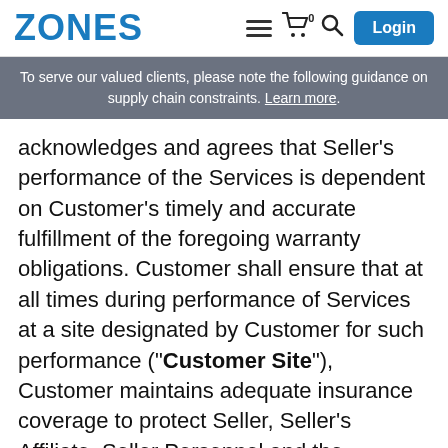ZONES | Login
To serve our valued clients, please note the following guidance on supply chain constraints. Learn more.
acknowledges and agrees that Seller's performance of the Services is dependent on Customer's timely and accurate fulfillment of the foregoing warranty obligations. Customer shall ensure that at all times during performance of Services at a site designated by Customer for such performance ("Customer Site"), Customer maintains adequate insurance coverage to protect Seller, Seller's Affiliate, Seller Personnel and the Customer Site, and Customer indemnifies and holds harmless Seller, Seller's Affiliate, Seller Personnel from any claims that arise out of any product